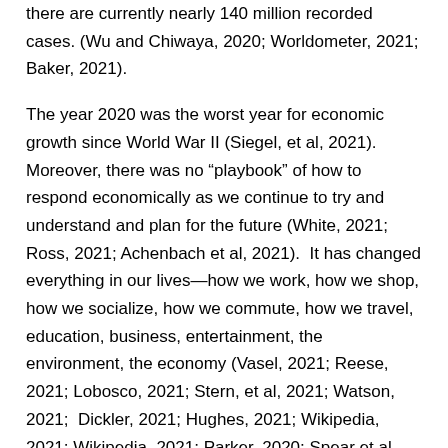there are currently nearly 140 million recorded cases. (Wu and Chiwaya, 2020; Worldometer, 2021; Baker, 2021).
The year 2020 was the worst year for economic growth since World War II (Siegel, et al, 2021). Moreover, there was no “playbook” of how to respond economically as we continue to try and understand and plan for the future (White, 2021; Ross, 2021; Achenbach et al, 2021).  It has changed everything in our lives—how we work, how we shop, how we socialize, how we commute, how we travel, education, business, entertainment, the environment, the economy (Vasel, 2021; Reese, 2021; Lobosco, 2021; Stern, et al, 2021; Watson, 2021;  Dickler, 2021; Hughes, 2021; Wikipedia, 2021; Wikipedia, 2021; Parker, 2020; Spear et al, 2020; Pesek, 2021; Burns and John, 2020; Reuters, 2021; Bauer, et al, 2020; Patton, 2020; McKinsey & Company, 2021; Gruver, et al, 2021; Entrepreneur, 2021;